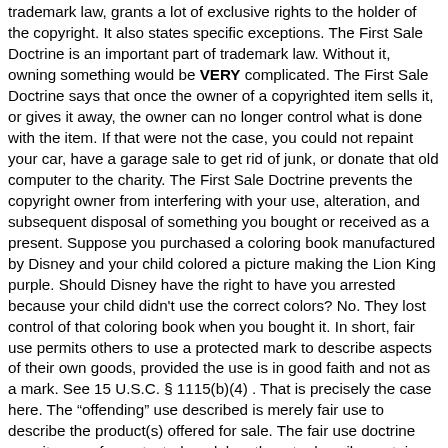trademark law, grants a lot of exclusive rights to the holder of the copyright. It also states specific exceptions. The First Sale Doctrine is an important part of trademark law. Without it, owning something would be VERY complicated. The First Sale Doctrine says that once the owner of a copyrighted item sells it, or gives it away, the owner can no longer control what is done with the item. If that were not the case, you could not repaint your car, have a garage sale to get rid of junk, or donate that old computer to the charity. The First Sale Doctrine prevents the copyright owner from interfering with your use, alteration, and subsequent disposal of something you bought or received as a present. Suppose you purchased a coloring book manufactured by Disney and your child colored a picture making the Lion King purple. Should Disney have the right to have you arrested because your child didn't use the correct colors? No. They lost control of that coloring book when you bought it. In short, fair use permits others to use a protected mark to describe aspects of their own goods, provided the use is in good faith and not as a mark. See 15 U.S.C. § 1115(b)(4) . That is precisely the case here. The “offending” use described is merely fair use to describe the product(s) offered for sale. The fair use doctrine permits use of a protected mark by others to describe certain aspects of the user’s own goods. See Car-Freshner Corp. v. S.C. Johnson & Son, Inc. , 70 F.3d 267, 270 (2d Cir. 1995).